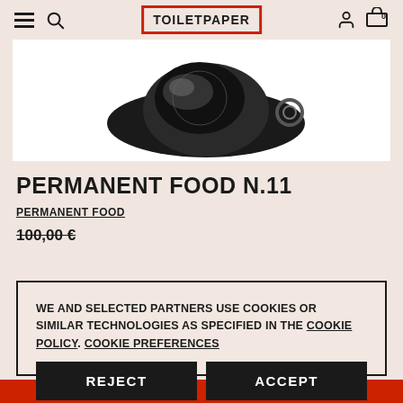TOILETPAPER
[Figure (photo): Black and white product photo showing a dark object (appears to be a hat or food item) on a white background]
PERMANENT FOOD N.11
PERMANENT FOOD
100,00 €
WE AND SELECTED PARTNERS USE COOKIES OR SIMILAR TECHNOLOGIES AS SPECIFIED IN THE COOKIE POLICY. COOKIE PREFERENCES
REJECT
ACCEPT